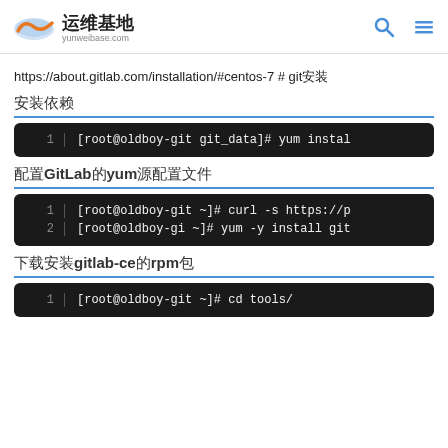运维基地 yunweibase.com
https://about.gitlab.com/installation/#centos-7 # git安装
安装依赖
[Figure (screenshot): Code block: [root@oldboy-git git_data]# yum instal...]
配置GitLab的yum源配置文件
[Figure (screenshot): Code block line 1: [root@oldboy-git ~]# curl -s https://p... line 2: [root@oldboy-gi ~]# yum -y install git...]
下载安装gitlab-ce的rpm包
[Figure (screenshot): Code block: [root@oldboy-git ~]# cd tools/]